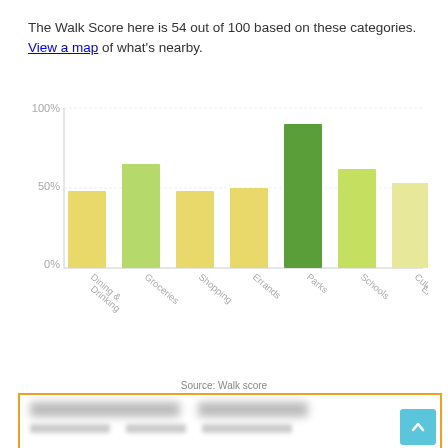The Walk Score here is 54 out of 100 based on these categories. View a map of what's nearby.
[Figure (bar-chart): Walk Score categories]
Source: Walk score